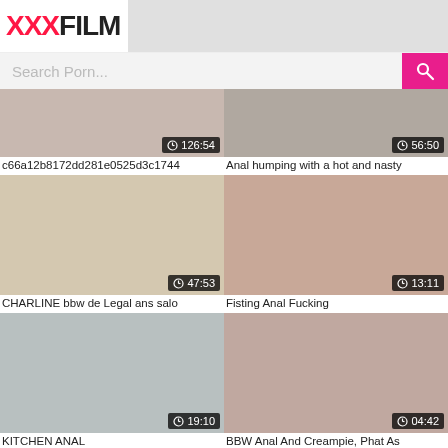XXXFILM
Search Porn...
[Figure (screenshot): Video thumbnail with duration 126:54]
c66a12b8172dd281e0525d3c1744
[Figure (screenshot): Video thumbnail with duration 56:50]
Anal humping with a hot and nasty
[Figure (screenshot): Video thumbnail with duration 47:53]
CHARLINE bbw de Legal ans salo
[Figure (screenshot): Video thumbnail with duration 13:11]
Fisting Anal Fucking
[Figure (screenshot): Video thumbnail with duration 19:10]
KITCHEN ANAL
[Figure (screenshot): Video thumbnail with duration 04:42]
BBW Anal And Creampie, Phat As